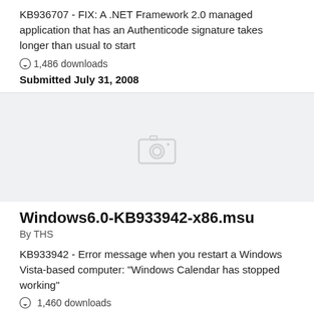KB936707 - FIX: A .NET Framework 2.0 managed application that has an Authenticode signature takes longer than usual to start
1,486 downloads
Submitted July 31, 2008
[Figure (photo): Placeholder thumbnail image with camera icon on light grey background]
Windows6.0-KB933942-x86.msu
By THS
KB933942 - Error message when you restart a Windows Vista-based computer: "Windows Calendar has stopped working"
1,460 downloads
Submitted July 17, 2007